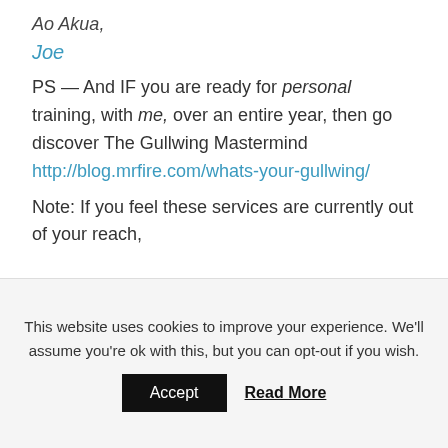Ao Akua,
Joe
PS — And IF you are ready for personal training, with me, over an entire year, then go discover The Gullwing Mastermind http://blog.mrfire.com/whats-your-gullwing/
Note: If you feel these services are currently out of your reach,
This website uses cookies to improve your experience. We'll assume you're ok with this, but you can opt-out if you wish.
Accept   Read More